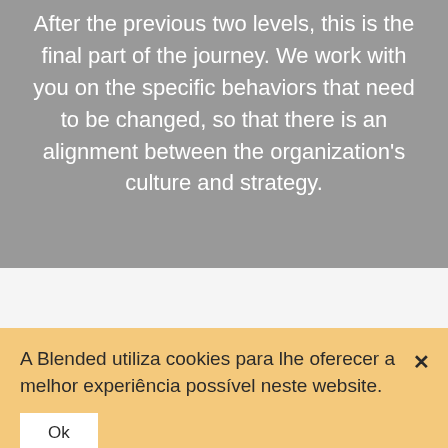After the previous two levels, this is the final part of the journey. We work with you on the specific behaviors that need to be changed, so that there is an alignment between the organization's culture and strategy.
A Blended utiliza cookies para lhe oferecer a melhor experiência possível neste website.
Ok